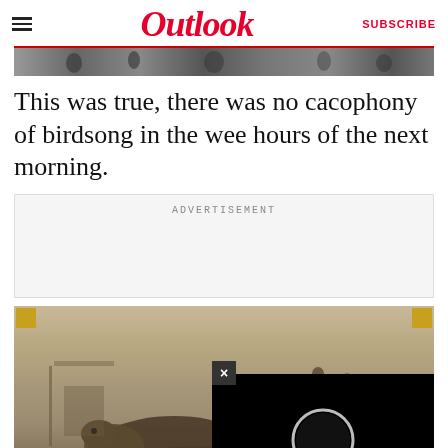Outlook | SUBSCRIBE
[Figure (photo): Black and white strip photo at the top, appears to show a crowd or landscape scene]
This was true, there was no cacophony of birdsong in the wee hours of the next morning.
ADVERTISEMENT
[Figure (photo): Old sepia photograph of a camel lying on the ground in a desert/camp setting with people visible in the background. Gold corner decorations on the photo. Overlaid by a video player showing a lunar eclipse with a close button (×).]